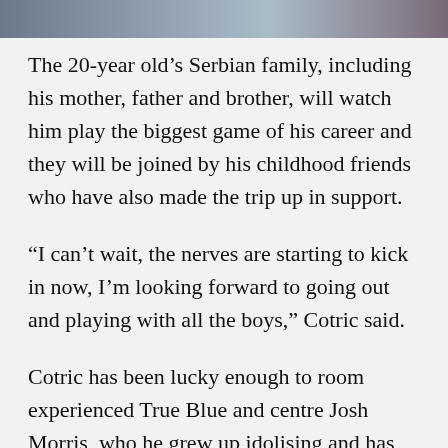[Figure (photo): Partial photo strip at the top of the page showing people]
The 20-year old's Serbian family, including his mother, father and brother, will watch him play the biggest game of his career and they will be joined by his childhood friends who have also made the trip up in support.
“I can’t wait, the nerves are starting to kick in now, I’m looking forward to going out and playing with all the boys,” Cotric said.
Cotric has been lucky enough to room experienced True Blue and centre Josh Morris, who he grew up idolising and has the picture to